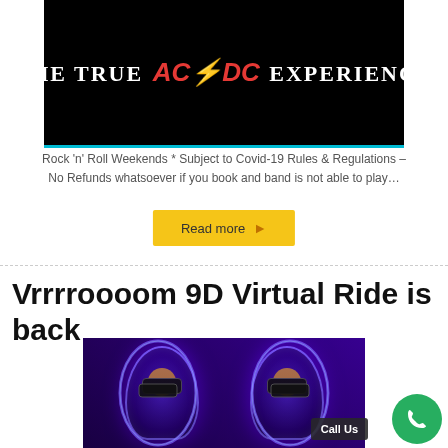[Figure (photo): Dark concert/event banner image with white text reading 'THE TRUE AC/DC EXPERIENCE' where AC/DC is in red stylized logo font, on black background with cyan bottom border]
Rock 'n' Roll Weekends * Subject to Covid-19 Rules & Regulations – No Refunds whatsoever if you book and band is not able to play…
Read more ▶
Vrrrroooom 9D Virtual Ride is back
[Figure (photo): Two people sitting in VR egg-shaped seats with blue neon lighting, wearing VR headsets, with a Call Us button overlay in the bottom right]